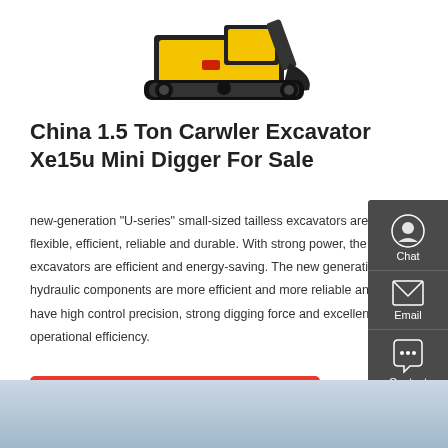[Figure (photo): Mini crawler excavator (yellow and black) viewed from front-side angle]
China 1.5 Ton Carwler Excavator Xe15u Mini Digger For Sale
new-generation "U-series" small-sized tailless excavators are flexible, efficient, reliable and durable. With strong power, the excavators are efficient and energy-saving. The new generation hydraulic components are more efficient and more reliable and have high control precision, strong digging force and excellent operational efficiency.
[Figure (screenshot): Get a quote red button]
[Figure (photo): Bottom portion of outdoor sky scene, light blue-grey sky]